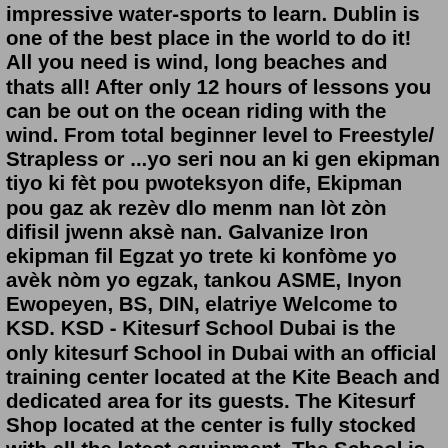impressive water-sports to learn. Dublin is one of the best place in the world to do it! All you need is wind, long beaches and thats all! After only 12 hours of lessons you can be out on the ocean riding with the wind. From total beginner level to Freestyle/ Strapless or ...yo seri nou an ki gen ekipman tiyo ki fèt pou pwoteksyon dife, Ekipman pou gaz ak rezèv dlo menm nan lòt zòn difisil jwenn aksè nan. Galvanize Iron ekipman fil Egzat yo trete ki konfòme yo avèk nòm yo egzak, tankou ASME, Inyon Ewopeyen, BS, DIN, elatriye Welcome to KSD. KSD - Kitesurf School Dubai is the only kitesurf School in Dubai with an official training center located at the Kite Beach and dedicated area for its guests. The Kitesurf Shop located at the center is fully stocked with all the latest equipment. The School is certified by the Dubai Sport Council.Find all your kitesurfing accessories here at the lowest prices. Kitesurfing helmets, safety leashes, impact vests, valves, repair kits, pumps and more. Quality, reliable brands from Mystic, North, CrazyFly, WMFG, PLKB and Blade. Expert advice